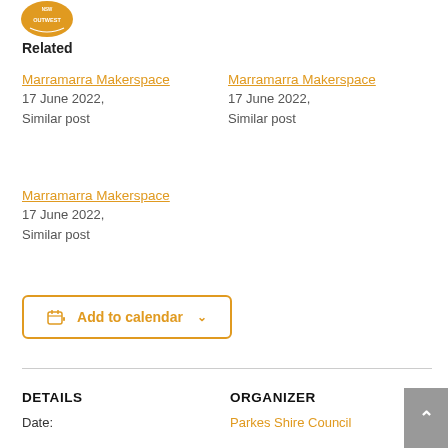[Figure (logo): NSW Outwest logo badge in orange and gold]
Related
Marramarra Makerspace
17 June 2022,
Similar post
Marramarra Makerspace
17 June 2022,
Similar post
Marramarra Makerspace
17 June 2022,
Similar post
Add to calendar
DETAILS
ORGANIZER
Date:
Parkes Shire Council